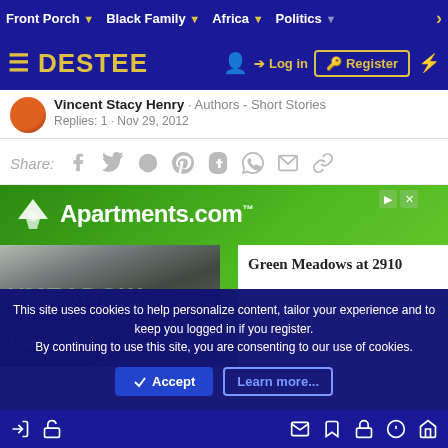Front Porch  Black Family  Africa  Politics  >
DESTEE  Log in  Register
Vincent Stacy Henry · Authors - Short Stories
Replies: 1 · Nov 29, 2012
Share: [Facebook] [Twitter] [Reddit] [Pinterest] [Tumblr] [WhatsApp] [Email] [Link]
[Figure (screenshot): Apartments.com advertisement banner showing logo, apartment photo, and Green Meadows at 2910 listing]
This site uses cookies to help personalize content, tailor your experience and to keep you logged in if you register.
By continuing to use this site, you are consenting to our use of cookies.
[Accept]  [Learn more...]
Login  Register  [mail] [bookmark] [lock] [info] [home]